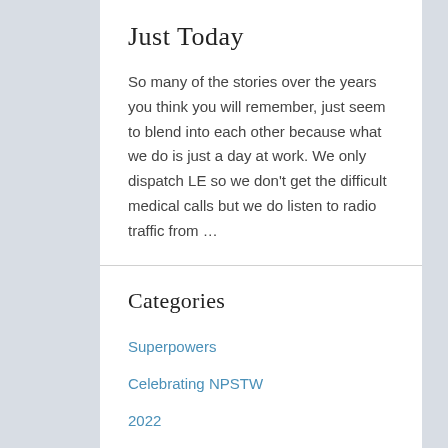Just Today
So many of the stories over the years you think you will remember, just seem to blend into each other because what we do is just a day at work. We only dispatch LE so we don't get the difficult medical calls but we do listen to radio traffic from …
Categories
Superpowers
Celebrating NPSTW
2022